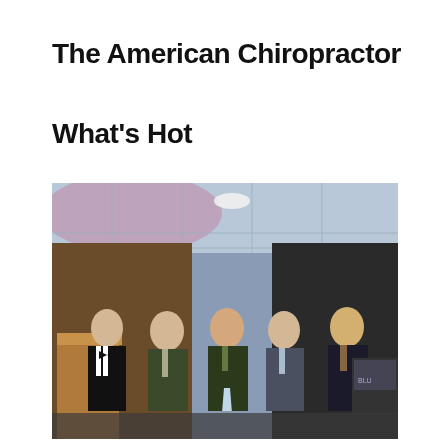The American Chiropractor
What’s Hot
[Figure (photo): Five men in suits and formal wear posing together at an awards ceremony in a banquet/conference room. The man in the center is holding a crystal trophy award. One man on the far left is wearing a tuxedo with a bow tie. The room has drop ceiling tiles with recessed lighting and pink/purple ambient lighting in the background.]